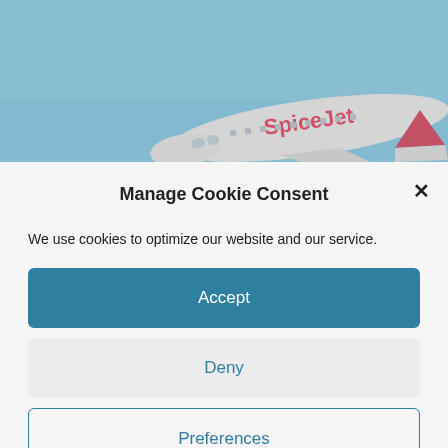[Figure (photo): SpiceJet airplane in flight against a blue sky background]
Manage Cookie Consent
We use cookies to optimize our website and our service.
Accept
Deny
Preferences
Cookie Policy  Privacy Policy